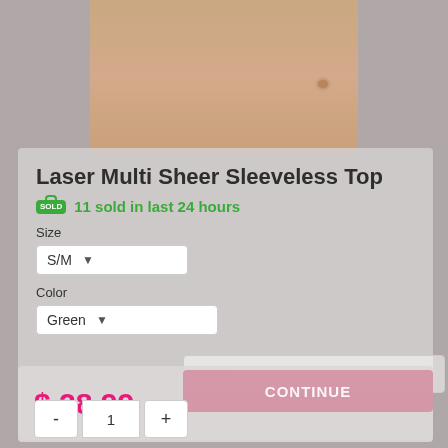[Figure (photo): Product photo showing torso/midsection of model wearing sheer top, cropped view]
Laser Multi Sheer Sleeveless Top
11 sold in last 24 hours
Size
S/M
Color
Green
$ 28.99
CONTINUE
- 1 +